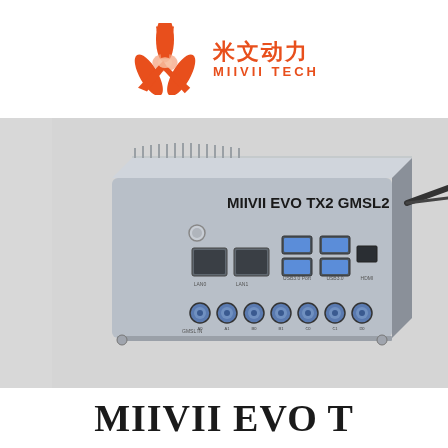[Figure (logo): MiiVii Tech logo: orange triangular/bolt icon with Chinese characters 米文动力 and MIIVII TECH brand text in orange]
[Figure (photo): Product photo of MIIVII EVO TX2 GMSL2 embedded computing device showing front/side panel with Ethernet ports, USB 3.0 ports, HDMI port, and GMSL2 camera connectors (Fakra connectors in blue). Device is silver/aluminum colored with heatsink fins on top.]
MIIVII EVO T